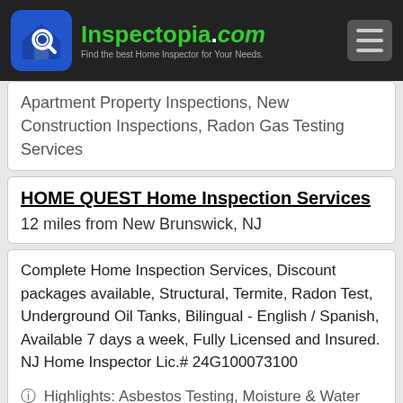Inspectopia.com — Find the best Home Inspector for Your Needs.
Apartment Property Inspections, New Construction Inspections, Radon Gas Testing Services
HOME QUEST Home Inspection Services
12 miles from New Brunswick, NJ
Complete Home Inspection Services, Discount packages available, Structural, Termite, Radon Test, Underground Oil Tanks, Bilingual - English / Spanish, Available 7 days a week, Fully Licensed and Insured. NJ Home Inspector Lic.# 24G100073100
Highlights: Asbestos Testing, Moisture & Water Infiltration Testing, Mold Testing, Home Inspection Reports Within 24 Hours w/ Photos, Residential Home Inspections, Foreclosure, Bank Inspections